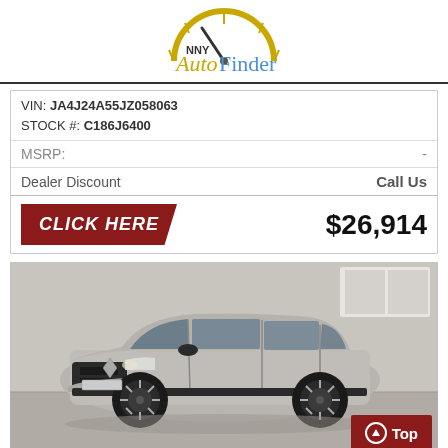[Figure (logo): NNY Auto Finder logo with speedometer graphic]
VIN: JA4J24A55JZ058063
STOCK #: C186J6400
MSRP: -
Dealer Discount   Call Us
CLICK HERE   $26,914
[Figure (photo): Silver Mitsubishi Outlander SUV in a showroom]